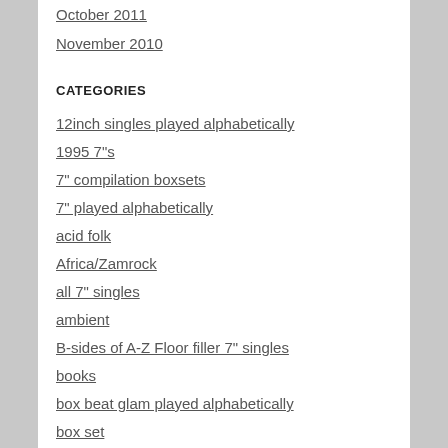October 2011
November 2010
CATEGORIES
12inch singles played alphabetically
1995 7"s
7" compilation boxsets
7" played alphabetically
acid folk
Africa/Zamrock
all 7" singles
ambient
B-sides of A-Z Floor filler 7" singles
books
box beat glam played alphabetically
box set
brazen ladies